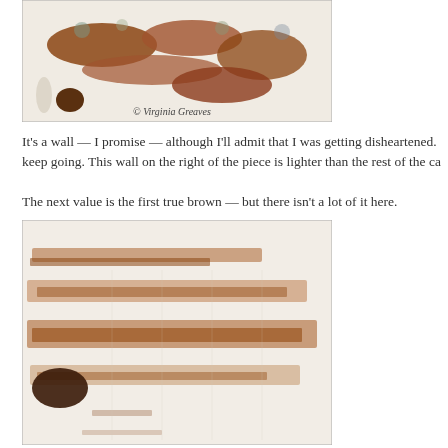[Figure (photo): Artwork photograph showing abstract painting with brown and earth-toned forms on light background, with copyright watermark '© Virginia Greaves']
It's a wall — I promise — although I'll admit that I was getting disheartened. keep going. This wall on the right of the piece is lighter than the rest of the ca
The next value is the first true brown — but there isn't a lot of it here.
[Figure (photo): Artwork photograph showing abstract textile or painting with horizontal brown and rust-colored striped forms on a light background]